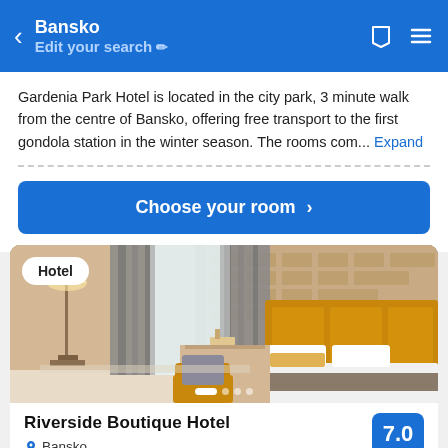Bansko | Edit your search
Gardenia Park Hotel is located in the city park, 3 minute walk from the centre of Bansko, offering free transport to the first gondola station in the winter season. The rooms com... Expand
Choose your room >
[Figure (photo): Hotel room photo showing a modern bedroom with gold/amber headboard, white bedding, gray curtains, a floor lamp, and a small sitting area with an amber chair.]
Riverside Boutique Hotel
Bansko
0.3 mi from center
7.0
409 reviews